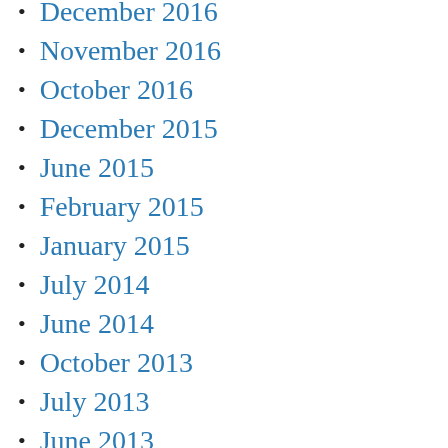December 2016
November 2016
October 2016
December 2015
June 2015
February 2015
January 2015
July 2014
June 2014
October 2013
July 2013
June 2013
May 2013
April 2013
March 2013
February 2013